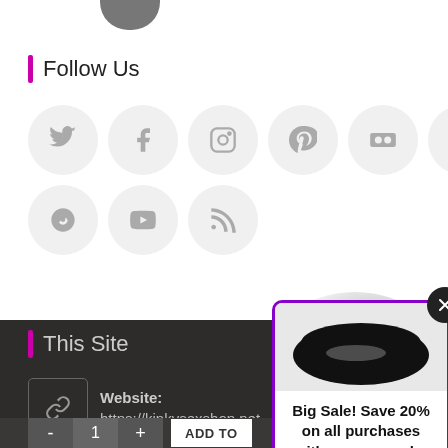[Figure (photo): Partial profile/avatar image at top of page]
Follow Us
[Figure (infographic): Social media icons in circles: Twitter, Facebook, Instagram, Pinterest, Flickr, Skype, Vine, YouTube, RSS]
This Site
Website: https://kinkvsexshop.net
[Figure (infographic): Popup modal with lips image and text: Big Sale! Save 20% on all purchases with coupon code: getoff20]